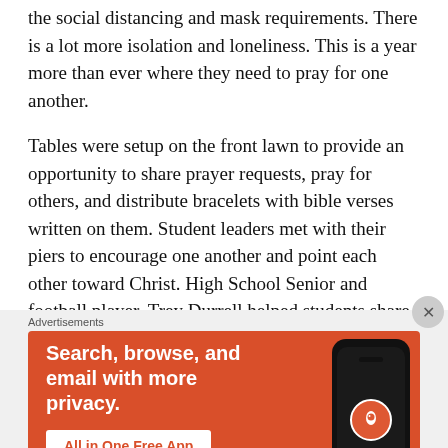the social distancing and mask requirements. There is a lot more isolation and loneliness. This is a year more than ever where they need to pray for one another.
Tables were setup on the front lawn to provide an opportunity to share prayer requests, pray for others, and distribute bracelets with bible verses written on them. Student leaders met with their piers to encourage one another and point each other toward Christ. High School Senior and football player, Trey Durrell helped students share prayer requests, while fellow senior Abigail Stramski distributed bracelets
Advertisements
[Figure (screenshot): DuckDuckGo advertisement banner on orange/red background. Text reads: Search, browse, and email with more privacy. All in One Free App. Shows a smartphone with DuckDuckGo logo.]